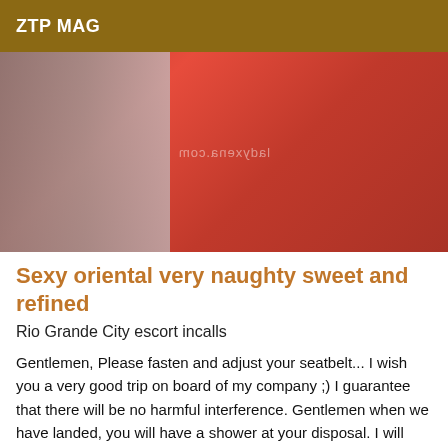ZTP MAG
[Figure (photo): Photo of a person wearing a red top, partially cropped, with a watermark reading ladyxena.com mirrored across the image. The left side shows striped fabric/bedding in grey and white tones.]
Sexy oriental very naughty sweet and refined
Rio Grande City escort incalls
Gentlemen, Please fasten and adjust your seatbelt... I wish you a very good trip on board of my company ;) I guarantee that there will be no harmful interference. Gentlemen when we have landed, you will have a shower at your disposal. I will make sure that your trip will be most pleasant. The instructions that I am going to